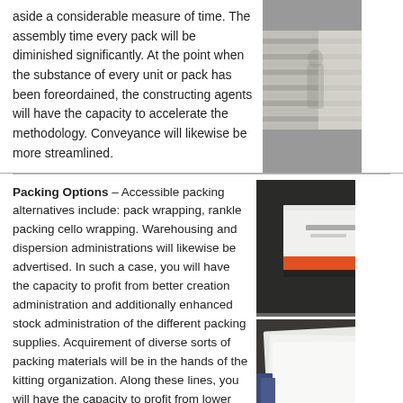aside a considerable measure of time. The assembly time every pack will be diminished significantly. At the point when the substance of every unit or pack has been foreordained, the constructing agents will have the capacity to accelerate the methodology. Conveyance will likewise be more streamlined.
[Figure (photo): Photo of window blinds/shutters, partially cropped on the right side]
Packing Options – Accessible packing alternatives include: pack wrapping, rankle packing cello wrapping. Warehousing and dispersion administrations will likewise be advertised. In such a case, you will have the capacity to profit from better creation administration and additionally enhanced stock administration of the different packing supplies. Acquirement of diverse sorts of packing materials will be in the hands of the kitting organization. Along these lines, you will have the capacity to profit from lower
[Figure (photo): Photo of a white box with orange accent edges, branded with a company logo, on a dark surface]
[Figure (photo): Photo of white cardboard or paper packaging materials with orange trim, partially visible]